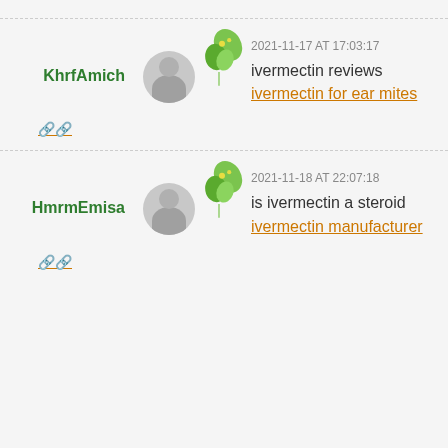KhrfAmich — 2021-11-17 AT 17:03:17 — ivermectin reviews ivermectin for ear mites
🔗🔗
HmrmEmisa — 2021-11-18 AT 22:07:18 — is ivermectin a steroid ivermectin manufacturer
🔗🔗